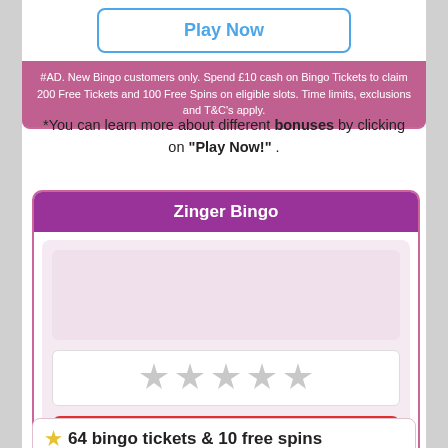[Figure (other): Play Now button with blue border]
#AD. New Bingo customers only. Spend £10 cash on Bingo Tickets to claim 200 Free Tickets and 100 Free Spins on eligible slots. Time limits, exclusions and T&C's apply.
*You can learn more about different bonuses by clicking on "Play Now!" .
Zinger Bingo
[Figure (other): Zinger Bingo logo placeholder area (pink/mauve background)]
[Figure (other): 4 grey star rating]
CLOSED
★ 64 bingo tickets & 10 free spins